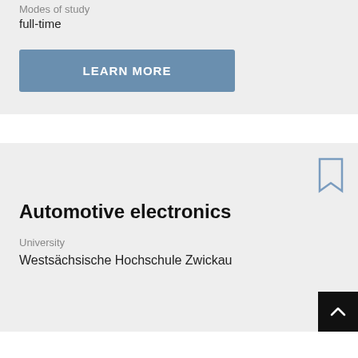Modes of study
full-time
LEARN MORE
Automotive electronics
University
Westsächsische Hochschule Zwickau